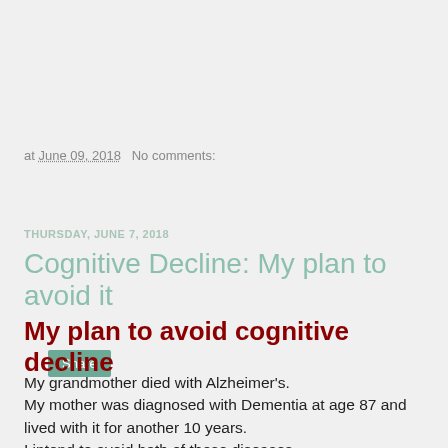at June 09, 2018   No comments:
Share
THURSDAY, JUNE 7, 2018
Cognitive Decline: My plan to avoid it
My plan to avoid cognitive decline
My grandmother died with Alzheimer's.
My mother was diagnosed with Dementia at age 87 and lived with it for another 10 years.
I intend to avoid both of these diseases.

Press HERE for an explanation of the steps I plan to follow